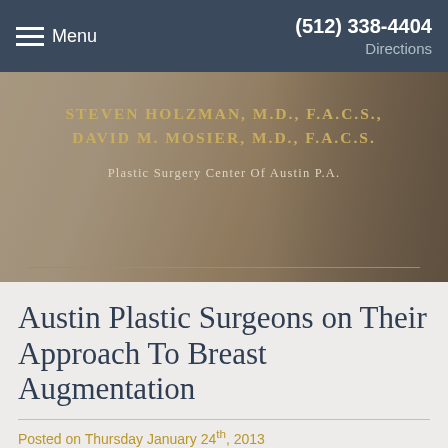Menu  (512) 338-4404  Directions
[Figure (photo): Medical practice header banner with two physicians' names in gold lettering on a sepia/beige background with a silhouette profile image. Text reads: STEVEN HOLZMAN, M.D., F.A.C.S., DAVID M. MOSIER, M.D., F.A.C.S., Plastic Surgery Center Of Austin P.A.]
Austin Plastic Surgeons on Their Approach To Breast Augmentation
Posted on Thursday January 24th, 2013